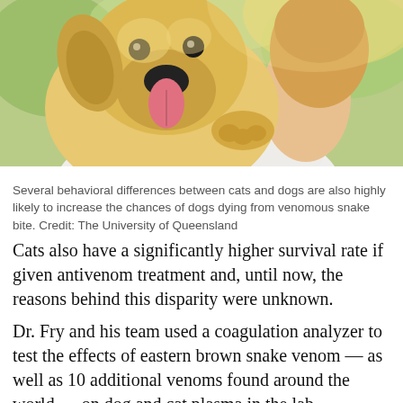[Figure (photo): A golden retriever puppy resting its head on the shoulder of a person wearing a white shirt, photographed outdoors with a blurred green background.]
Several behavioral differences between cats and dogs are also highly likely to increase the chances of dogs dying from venomous snake bite. Credit: The University of Queensland
Cats also have a significantly higher survival rate if given antivenom treatment and, until now, the reasons behind this disparity were unknown.
Dr. Fry and his team used a coagulation analyzer to test the effects of eastern brown snake venom — as well as 10 additional venoms found around the world — on dog and cat plasma in the lab.